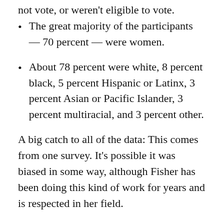not vote, or weren't eligible to vote.
The great majority of the participants — 70 percent — were women.
About 78 percent were white, 8 percent black, 5 percent Hispanic or Latinx, 3 percent Asian or Pacific Islander, 3 percent multiracial, and 3 percent other.
A big catch to all of the data: This comes from one survey. It's possible it was biased in some way, although Fisher has been doing this kind of work for years and is respected in her field.
Ultimately, the findings show that our initial assumptions about March for Our Lives might not capture the full picture — and that beyond attracting a big crowd, the movement also brought in different